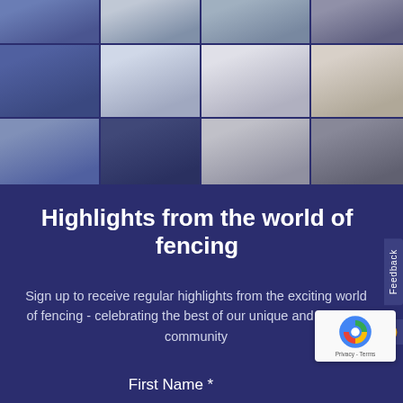[Figure (photo): Collage of fencing photos arranged in a 4-column grid showing fencers in action, training, and group shots]
Highlights from the world of fencing
Sign up to receive regular highlights from the exciting world of fencing - celebrating the best of our unique and inspiring community
First Name *